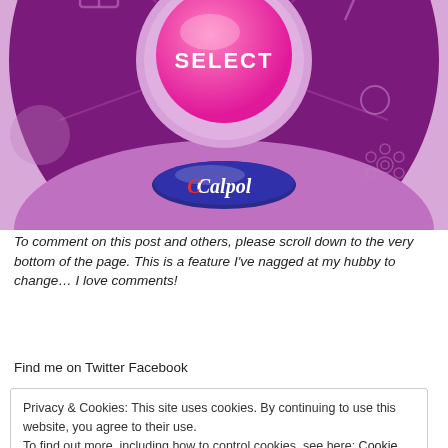[Figure (illustration): Calpol branded interactive spinner/wheel in purple and magenta colours with a pink central SELECT button and the Calpol logo at the bottom.]
To comment on this post and others, please scroll down to the very bottom of the page. This is a feature I've nagged at my hubby to change… I love comments!
Find me on Twitter Facebook
Privacy & Cookies: This site uses cookies. By continuing to use this website, you agree to their use.
To find out more, including how to control cookies, see here: Cookie Policy
Close and accept